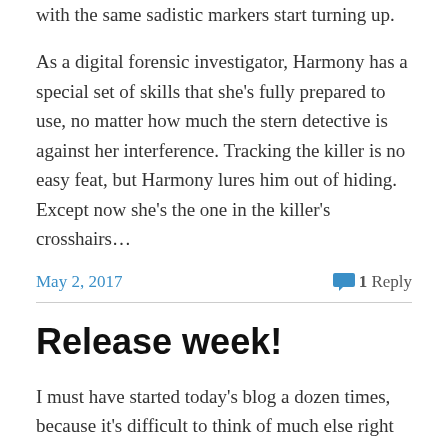with the same sadistic markers start turning up.
As a digital forensic investigator, Harmony has a special set of skills that she's fully prepared to use, no matter how much the stern detective is against her interference. Tracking the killer is no easy feat, but Harmony lures him out of hiding. Except now she's the one in the killer's crosshairs…
May 2, 2017   💬 1 Reply
Release week!
I must have started today's blog a dozen times, because it's difficult to think of much else right now beyond concern over the direction our country is headed. (For the record